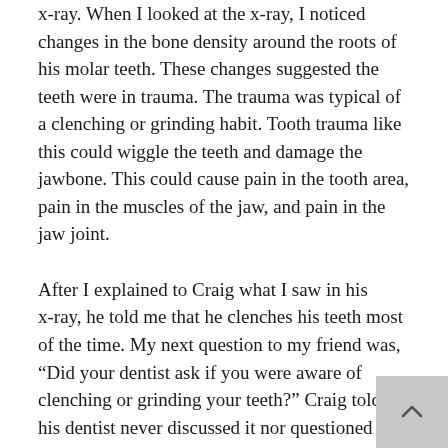x-ray. When I looked at the x-ray, I noticed changes in the bone density around the roots of his molar teeth. These changes suggested the teeth were in trauma. The trauma was typical of a clenching or grinding habit. Tooth trauma like this could wiggle the teeth and damage the jawbone. This could cause pain in the tooth area, pain in the muscles of the jaw, and pain in the jaw joint.
After I explained to Craig what I saw in his x-ray, he told me that he clenches his teeth most of the time. My next question to my friend was, “Did your dentist ask if you were aware of clenching or grinding your teeth?” Craig told me his dentist never discussed it nor questioned him about it. He also said the dentist never explained what he saw in the x-ray other than the old filling